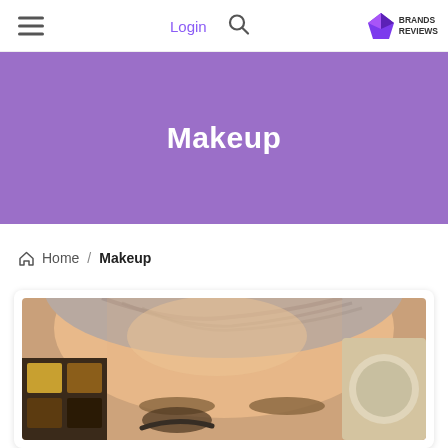≡  Login  🔍  BRANDS REVIEWS
Makeup
🏠 Home / Makeup
[Figure (photo): Close-up photo of a woman's face with makeup, showing her forehead, eyebrows, and eyes. Background includes makeup palettes with gold and brown eyeshadows.]